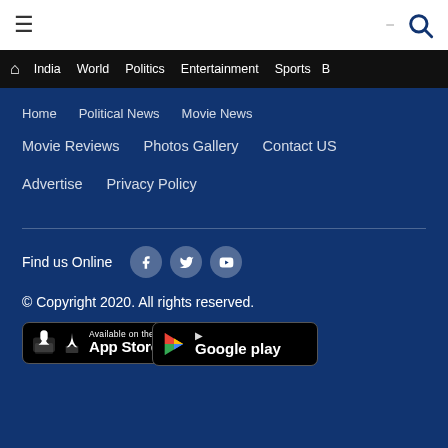≡  [search icon]
⌂ India  World  Politics  Entertainment  Sports  B
Home   Political News   Movie News
Movie Reviews   Photos Gallery   Contact US
Advertise   Privacy Policy
Find us Online  [Facebook] [Twitter] [YouTube]
© Copyright 2020. All rights reserved.
[Figure (logo): App Store badge - Available on the App Store]
[Figure (logo): Google Play badge - Google play]